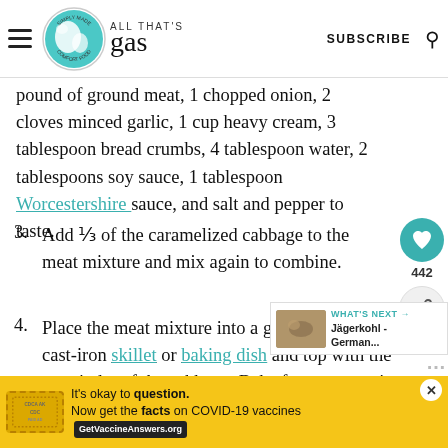ALL THAT'S GAS — SUBSCRIBE
pound of ground meat, 1 chopped onion, 2 cloves minced garlic, 1 cup heavy cream, 3 tablespoon bread crumbs, 4 tablespoon water, 2 tablespoons soy sauce, 1 tablespoon Worcestershire sauce, and salt and pepper to taste.
3. Add ⅓ of the caramelized cabbage to the meat mixture and mix again to combine.
4. Place the meat mixture into a greased 10-inch cast-iron skillet or baking dish and top with the remainder of the cabbage. Bake for minutes in a 350 degrees Fahrenheit preheated oven, or until meat is cooked and
[Figure (other): Promotional banner: It's okay to question. Now get the facts on COVID-19 vaccines. GetVaccineAnswers.org]